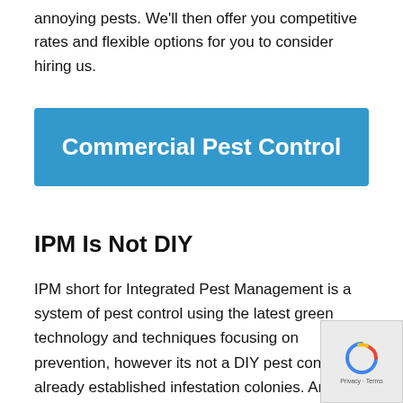annoying pests. We'll then offer you competitive rates and flexible options for you to consider hiring us.
[Figure (other): Blue button/banner with white bold text reading 'Commercial Pest Control']
IPM Is Not DIY
IPM short for Integrated Pest Management is a system of pest control using the latest green technology and techniques focusing on prevention, however its not a DIY pest control for already established infestation colonies. And while DIY killing products and chemical sprays are